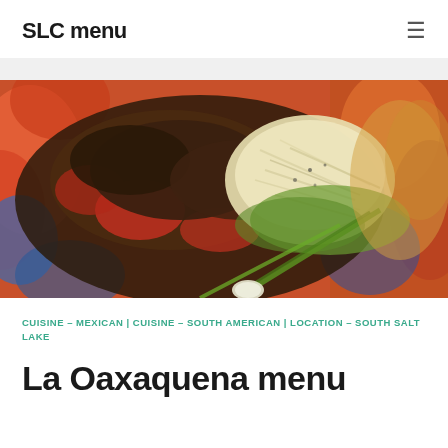SLC menu
[Figure (photo): Close-up photo of a Mexican/South American dish on a colorful floral plate. The dish features grilled meats, roasted vegetables including tomatoes and peppers, shredded cabbage or cheese, and a green onion garnish on a vibrant red and blue floral patterned plate.]
CUISINE – MEXICAN | CUISINE – SOUTH AMERICAN | LOCATION – SOUTH SALT LAKE
La Oaxaquena menu